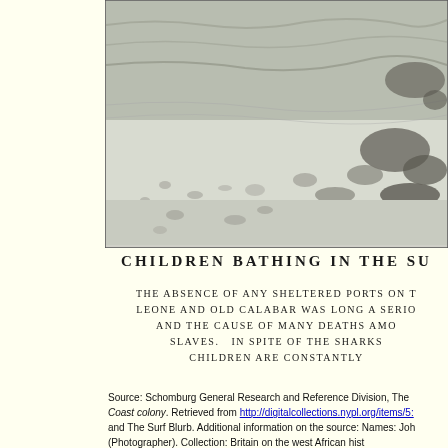[Figure (photo): Black and white photograph showing children bathing in surf, waves and shoreline visible with rocky outcrops]
CHILDREN BATHING IN THE SU[RF]
THE ABSENCE OF ANY SHELTERED PORTS ON T[HE COAST BETWEEN SIERRA] LEONE AND OLD CALABAR WAS LONG A SERIO[US DRAWBACK TO TRADE] AND THE CAUSE OF MANY DEATHS AMO[NG THE CARRIERS AND] SLAVES. IN SPITE OF THE SHARKS[,] CHILDREN ARE CONSTANTLY [BATHING IN THE SURF]
Source: Schomburg General Research and Reference Division, The [New York Public Library]. Coast colony. Retrieved from http://digitalcollections.nypl.org/items/5[...] and The Surf Blurb. Additional information on the source: Names: Joh[n...] [Photographer]. Collection: Britain on the west African hist[ory...]